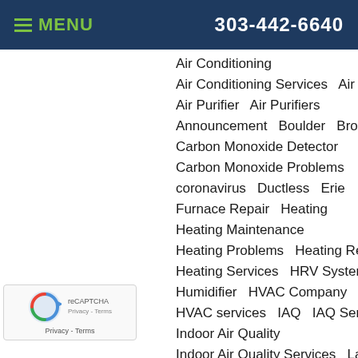MENU   303-442-6640
Air Conditioning
Air Conditioning Services    Air Filter
Air Purifier    Air Purifiers
Announcement    Boulder    Broomfield
Carbon Monoxide Detector
Carbon Monoxide Problems
coronavirus    Ductless    Erie
Furnace Repair    Heating
Heating Maintenance
Heating Problems    Heating Repair
Heating Services    HRV System
Humidifier    HVAC Company
HVAC services    IAQ    IAQ Services
Indoor Air Quality
Indoor Air Quality Services    Lafayette
Longmont    Louisville    Maintenance